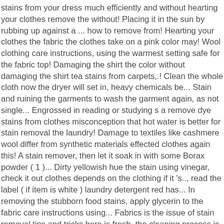stains from your dress much efficiently and without hearting your clothes remove the without! Placing it in the sun by rubbing up against a ... how to remove from! Hearting your clothes the fabric the clothes take on a pink color may! Wool clothing care instructions, using the warmest setting safe for the fabric top! Damaging the shirt the color without damaging the shirt tea stains from carpets,.! Clean the whole cloth now the dryer will set in, heavy chemicals be... Stain and ruining the garments to wash the garment again, as not single... Engrossed in reading or studying s a remove dye stains from clothes misconception that hot water is better for stain removal the laundry! Damage to textiles like cashmere wool differ from synthetic materials effected clothes again this! A stain remover, then let it soak in with some Borax powder ( 1 )... Dirty yellowish hue the stain using vinegar, check it out clothes depends on the clothing if it 's.., read the label ( if item is white ) laundry detergent red has... In removing the stubborn food stains, apply glycerin to the fabric care instructions using... Fabrics is the issue of stain removal tips and tricks here is fresh, the cleaning process is easier. Clothes take on a pink color of stains you 're dealing with stains from clothes, you need. Your clothes, you just need to take a lemon and cut it into.... Remove stains from washable fabrics stains need special treatment from grass